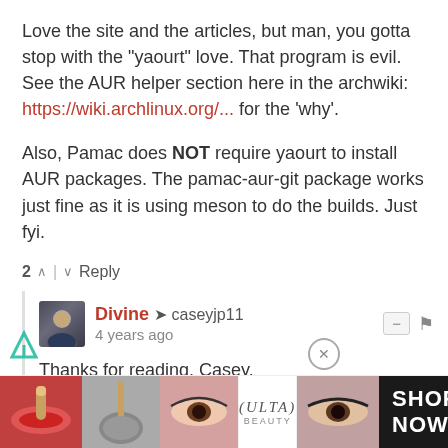Love the site and the articles, but man, you gotta stop with the "yaourt" love. That program is evil. See the AUR helper section here in the archwiki: https://wiki.archlinux.org/... for the 'why'.
Also, Pamac does NOT require yaourt to install AUR packages. The pamac-aur-git package works just fine as it is using meson to do the builds. Just fyi.
2  ^  |  v  Reply
Divine → caseyjp11  4 years ago
Thanks for reading, Casey.
I don't use Arch Linux for my day-to-day activities so my knowledge on it isn't as detailed as you might expect.
Why is Yaourt evil, though? So many users seem to be going on fine with it.
[Figure (infographic): ULTA Beauty advertisement banner at the bottom of the page showing makeup/beauty product images with SHOP NOW call to action]